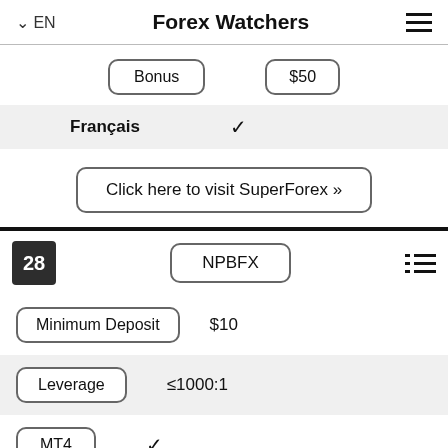EN  Forex Watchers
Bonus  $50
Français  ✓
Click here to visit SuperForex »
28  NPBFX
| Feature | Value |
| --- | --- |
| Minimum Deposit | $10 |
| Leverage | ≤1000:1 |
| MT4 | ✓ |
| MT5 | – |